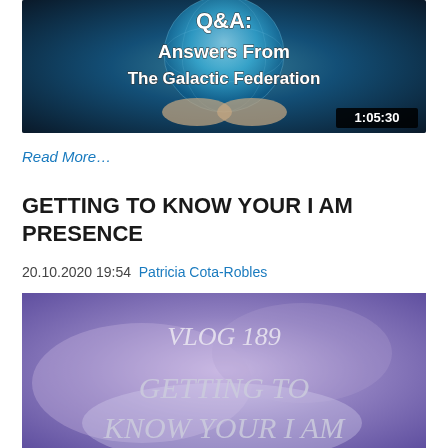[Figure (screenshot): Video thumbnail for 'Q&A: Answers From The Galactic Federation' showing a glowing blue Earth/globe with hands, white bold text overlay, and duration stamp '1:05:30' in bottom right.]
Read More…
GETTING TO KNOW YOUR I AM PRESENCE
20.10.2020 19:54  Patricia Cota-Robles
[Figure (screenshot): Video thumbnail showing 'VLOG 189' and 'GETTING TO KNOW YOUR I AM' text in ornate script on a purple/lavender misty background.]